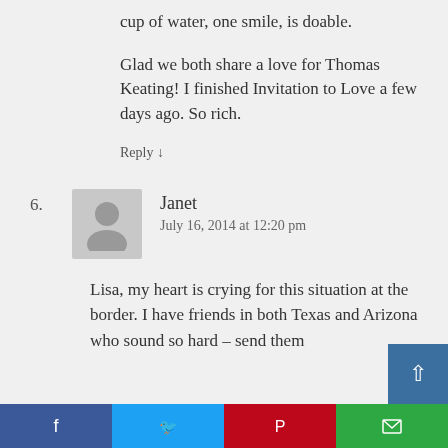cup of water, one smile, is doable.
Glad we both share a love for Thomas Keating! I finished Invitation to Love a few days ago. So rich.
Reply ↓
6.
[Figure (illustration): Gray avatar placeholder icon of a person silhouette]
Janet
July 16, 2014 at 12:20 pm
Lisa, my heart is crying for this situation at the border. I have friends in both Texas and Arizona who sound so hard – send them
[Figure (infographic): Social sharing bar with Facebook, Twitter, Pinterest, and email buttons]